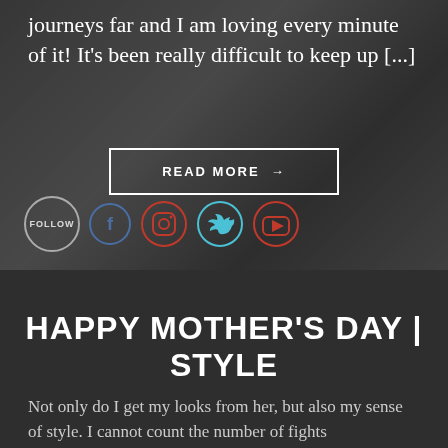[Figure (photo): Background photo of a person in dark jacket, partially visible, with overlaid text and social media icons]
journeys far and I am loving every minute of it! It's been really difficult to keep up [...]
READ MORE →
FOLLOW
HAPPY MOTHER'S DAY | STYLE
Not only do I get my looks from her, but also my sense of style. I cannot count the number of fights